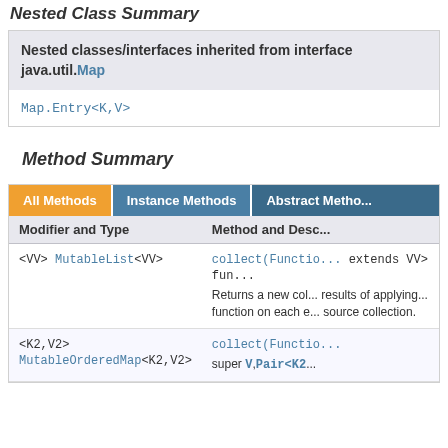Nested Class Summary
| Nested classes/interfaces inherited from interface java.util.Map |
| --- |
| Map.Entry<K,V> |
Method Summary
| Modifier and Type | Method and Description |
| --- | --- |
| <VV> MutableList<VV> | collect(Functio... extends VV> fun...
Returns a new col... results of applying... function on each e... source collection. |
| <K2,V2> MutableOrderedMap<K2,V2> | collect(Functio... super V,Pair<K2... |